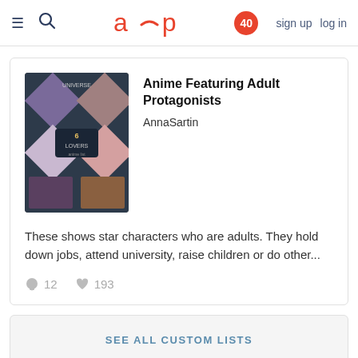aup  40  sign up  log in
Anime Featuring Adult Protagonists
AnnaSartin
These shows star characters who are adults. They hold down jobs, attend university, raise children or do other...
12  193
SEE ALL CUSTOM LISTS